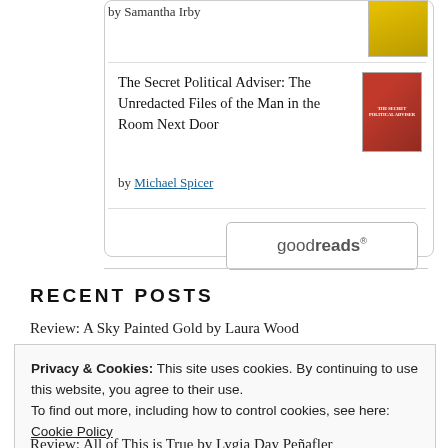by Samantha Irby
The Secret Political Adviser: The Unredacted Files of the Man in the Room Next Door
by Michael Spicer
[Figure (logo): Goodreads button/logo with rounded rectangle border]
RECENT POSTS
Review: A Sky Painted Gold by Laura Wood
Privacy & Cookies: This site uses cookies. By continuing to use this website, you agree to their use.
To find out more, including how to control cookies, see here: Cookie Policy
Close and accept
Review: All of This is True by Lygia Day Peñafler